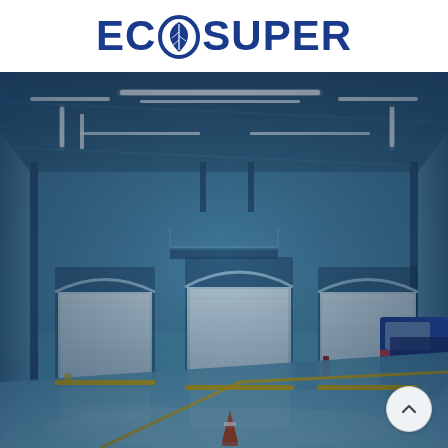[Figure (logo): EcoSuper logo with leaf icon replacing the letter O, rendered in dark blue on white background]
[Figure (photo): Interior of a large industrial warehouse with blue-tinted lighting, steel roof trusses, three large roll-up loading dock doors, reflective concrete floor, and a blue semi truck visible on the right side. A traffic cone stands in the foreground. Yellow safety lines mark the floor.]